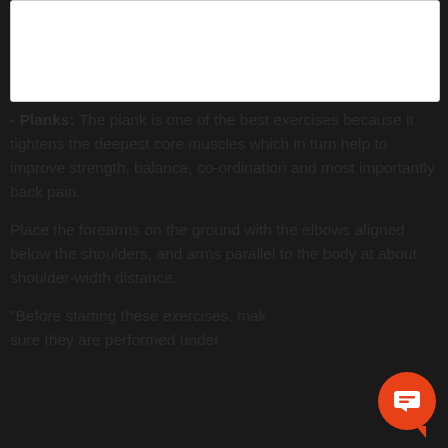[Figure (other): White rectangular box at top of page, likely containing an image (not visible in this crop)]
- Planks: The plank is one of the best exercises because it tightens the deepest core muscles which in turn help to improve strength, balance, co-ordination and most importantly back pain.
Place the forearms on the ground with the elbows aligned below the shoulders, and arms parallel to the body at about shoulder-width distance.
"Before starting these exercises, make sure they are performed under